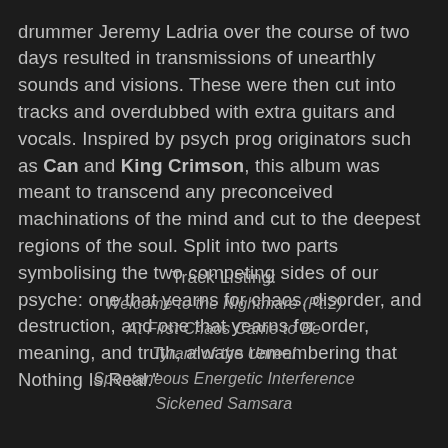drummer Jeremy Ladria over the course of two days resulted in transmissions of unearthly sounds and visions. These were then cut into tracks and overdubbed with extra guitars and vocals. Inspired by psych prog originators such as Can and King Crimson, this album was meant to transcend any preconceived machinations of the mind and cut to the deepest regions of the soul. Split into two parts symbolising the two competing sides of our psyche: one that yearns for chaos, disorder, and destruction, and one that yearns for order, meaning, and truth, always remembering that Nothing Is Real."
Track Listing:
Welcome to the Nightmare (Pt.2)
At First Chaos Came to Be
Tyrant of the Unreal
Spontaneous Energetic Interference
Sickened Samsara